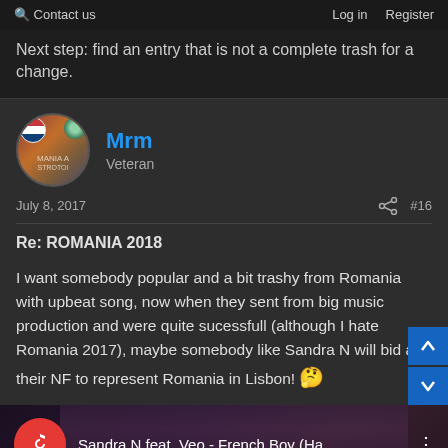Q  Contact us  Log in  Register
Next step: find an entry that is not a complete trash for a change.
Mrm
Veteran
July 8, 2017  #16
Re: ROMANIA 2018
I want somebody popular and a bit trashy from Romania with upbeat song, now when they sent from big music production and were quite sucessfull (although I hate Romania 2017), maybe somebody like Sandra N will bid at their NF to represent Romania in Lisbon! 🤔
[Figure (screenshot): Video embed thumbnail showing Sandra N feat. Veo - French Boy (Ha... with red circular music logo and partial face image in background]